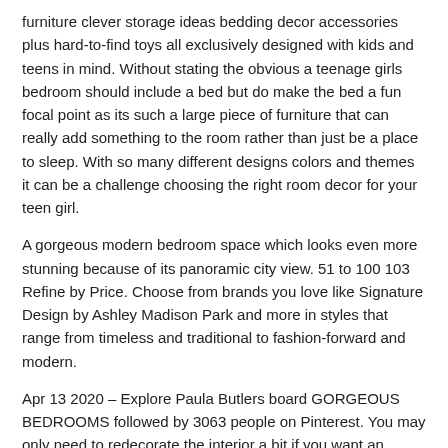furniture clever storage ideas bedding decor accessories plus hard-to-find toys all exclusively designed with kids and teens in mind. Without stating the obvious a teenage girls bedroom should include a bed but do make the bed a fun focal point as its such a large piece of furniture that can really add something to the room rather than just be a place to sleep. With so many different designs colors and themes it can be a challenge choosing the right room decor for your teen girl.
A gorgeous modern bedroom space which looks even more stunning because of its panoramic city view. 51 to 100 103 Refine by Price. Choose from brands you love like Signature Design by Ashley Madison Park and more in styles that range from timeless and traditional to fashion-forward and modern.
Apr 13 2020 – Explore Paula Butlers board GORGEOUS BEDROOMS followed by 3063 people on Pinterest. You may only need to redecorate the interior a bit if you want an update. Top 10 Best Kids Bedroom Furniture Sets.
Tons of masterfully decorated rooms both small and huge await you here that will help you decorate your own bedroom. Under 25 3 Refine by Price. See more ideas about girls bedroom kids bedroom teenage